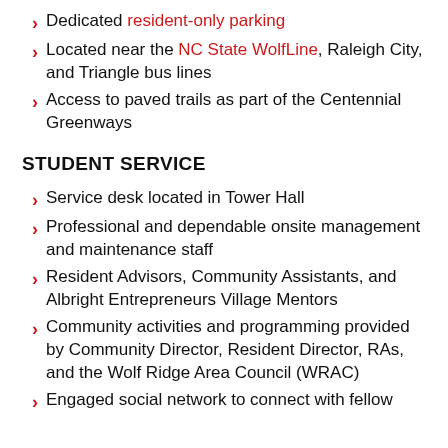Dedicated resident-only parking
Located near the NC State WolfLine, Raleigh City, and Triangle bus lines
Access to paved trails as part of the Centennial Greenways
STUDENT SERVICE
Service desk located in Tower Hall
Professional and dependable onsite management and maintenance staff
Resident Advisors, Community Assistants, and Albright Entrepreneurs Village Mentors
Community activities and programming provided by Community Director, Resident Director, RAs, and the Wolf Ridge Area Council (WRAC)
Engaged social network to connect with fellow